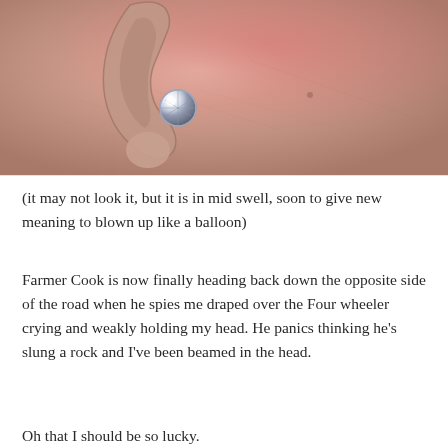[Figure (photo): Close-up photograph of a human ear with a diamond/crystal stud earring inserted, showing reddened skin around the ear area]
(it may not look it, but it is in mid swell, soon to give new meaning to blown up like a balloon)
Farmer Cook is now finally heading back down the opposite side of the road when he spies me draped over the Four wheeler crying and weakly holding my head. He panics thinking he's slung a rock and I've been beamed in the head.
Oh that I should be so lucky.